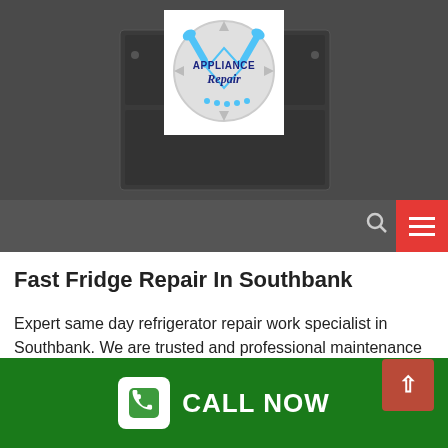[Figure (logo): Appliance Repair logo with wrench icons on white background, displayed in website header]
Fast Fridge Repair In Southbank
Expert same day refrigerator repair work specialist in Southbank. We are trusted and professional maintenance all suburbs of Melbourne.
Problems with your fridge are not always straightforward and easy to handle, particularly if you're not effectively trained to manage the situation in the first place. If you discover that your fridge is starting to give trouble, do not wait until it's too late to call an expert due to the fact that
CALL NOW